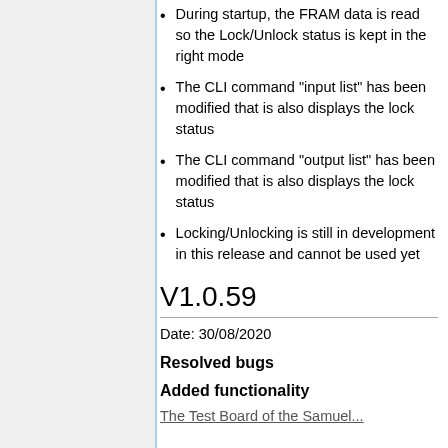During startup, the FRAM data is read so the Lock/Unlock status is kept in the right mode
The CLI command "input list" has been modified that is also displays the lock status
The CLI command "output list" has been modified that is also displays the lock status
Locking/Unlocking is still in development in this release and cannot be used yet
V1.0.59
Date: 30/08/2020
Resolved bugs
Added functionality
The Test Board of the Samuel...